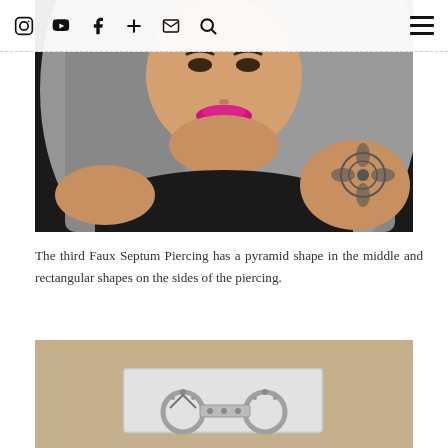Instagram YouTube Facebook + Email Search [hamburger menu]
[Figure (photo): Selfie of a woman with long gray hair, bright pink/magenta lipstick, wearing a black sleeveless top, with a floral tattoo visible on her right upper arm. Background is dark.]
The third Faux Septum Piercing has a pyramid shape in the middle and rectangular shapes on the sides of the piercing.
[Figure (photo): Close-up photo of two faux septum piercing jewelry pieces laid on a silver/metallic display tray, set against a beige/tan fuzzy fabric background. The piercings appear to be U-shaped with decorative elements.]